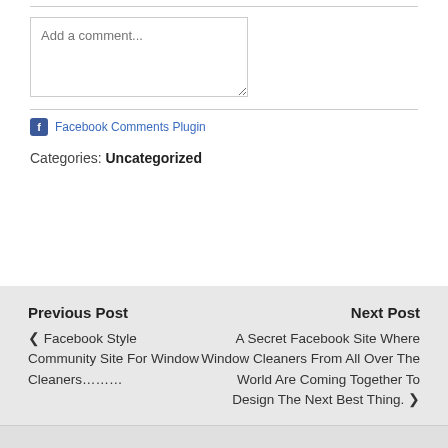Add a comment...
Facebook Comments Plugin
Categories: Uncategorized
Previous Post
Next Post
◀ Facebook Style Community Site For Window Cleaners………
A Secret Facebook Site Where Window Cleaners From All Over The World Are Coming Together To Design The Next Best Thing. ▶